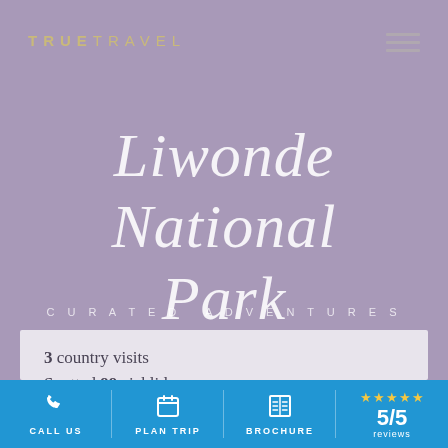TRUETRAVEL
Liwonde National Park
CURATED ADVENTURES
3 country visits
Spotted 99 cichlids
CALL US | PLAN TRIP | BROCHURE | 5/5 reviews